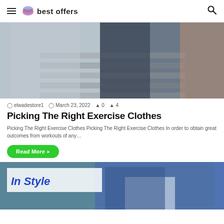best offers
[Figure (photo): Two people on outdoor steps, one in grey suit, one in dark clothes]
elwadestore1  March 23, 2022  0  4
Picking The Right Exercise Clothes
Picking The Right Exercise Clothes Picking The Right Exercise Clothes In order to obtain great outcomes from workouts of any…
Read More »
[Figure (photo): Person in blue athletic wear outdoors; overlay text 'In Style']